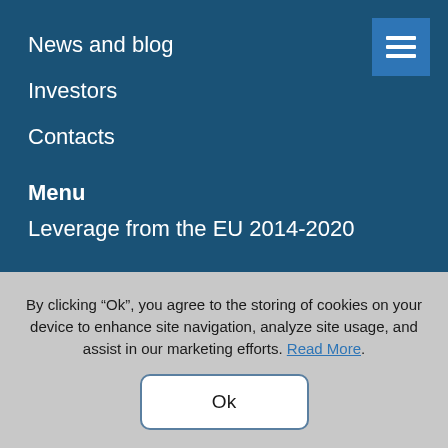News and blog
Investors
Contacts
Menu
Leverage from the EU 2014-2020
By clicking “Ok”, you agree to the storing of cookies on your device to enhance site navigation, analyze site usage, and assist in our marketing efforts. Read More.
Ok